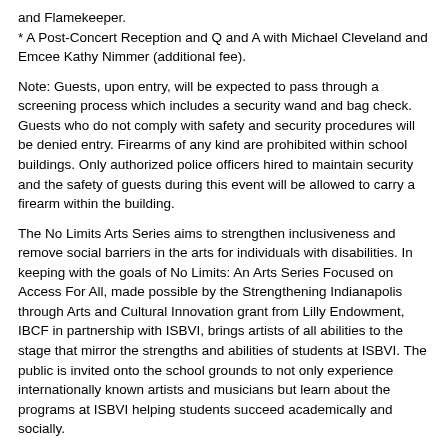and Flamekeeper.
* A Post-Concert Reception and Q and A with Michael Cleveland and Emcee Kathy Nimmer (additional fee).
Note: Guests, upon entry, will be expected to pass through a screening process which includes a security wand and bag check. Guests who do not comply with safety and security procedures will be denied entry. Firearms of any kind are prohibited within school buildings. Only authorized police officers hired to maintain security and the safety of guests during this event will be allowed to carry a firearm within the building.
The No Limits Arts Series aims to strengthen inclusiveness and remove social barriers in the arts for individuals with disabilities. In keeping with the goals of No Limits: An Arts Series Focused on Access For All, made possible by the Strengthening Indianapolis through Arts and Cultural Innovation grant from Lilly Endowment, IBCF in partnership with ISBVI, brings artists of all abilities to the stage that mirror the strengths and abilities of students at ISBVI. The public is invited onto the school grounds to not only experience internationally known artists and musicians but learn about the programs at ISBVI helping students succeed academically and socially.
We look forward to celebrating with you!
PLEASE REVIEW THE SEATING CHART BEFORE FINALIZING YOUR PURCHASE:
Wheelchair spaces are located in A-2WC, A-17WC, N-2WC, N-WC8, N-11WC, N-17WC
Seats with ADA retractable arms are located in C-1ADA, C-18ADA, F-